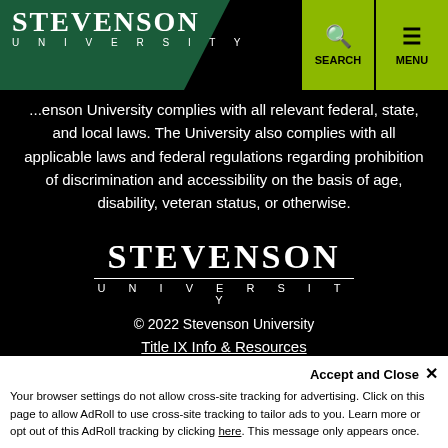STEVENSON UNIVERSITY — header with search and menu buttons
...enson University complies with all relevant federal, state, and local laws. The University also complies with all applicable laws and federal regulations regarding prohibition of discrimination and accessibility on the basis of age, disability, veteran status, or otherwise.
[Figure (logo): Stevenson University logo in white on black background]
© 2022 Stevenson University
Title IX Info & Resources
Annual Security & Fire Safety Report
Consumer Information
Your browser settings do not allow cross-site tracking for advertising. Click on this page to allow AdRoll to use cross-site tracking to tailor ads to you. Learn more or opt out of this AdRoll tracking by clicking here. This message only appears once.